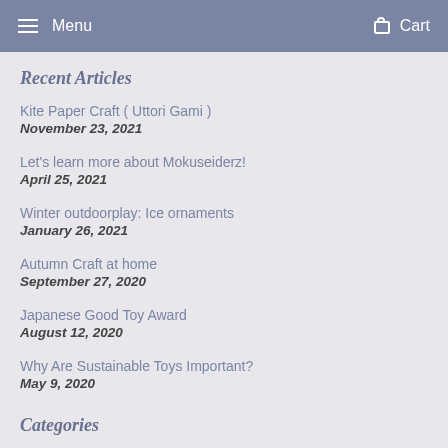Menu  Cart
Recent Articles
Kite Paper Craft ( Uttori Gami )
November 23, 2021
Let's learn more about Mokuseiderz!
April 25, 2021
Winter outdoorplay: Ice ornaments
January 26, 2021
Autumn Craft at home
September 27, 2020
Japanese Good Toy Award
August 12, 2020
Why Are Sustainable Toys Important?
May 9, 2020
Categories